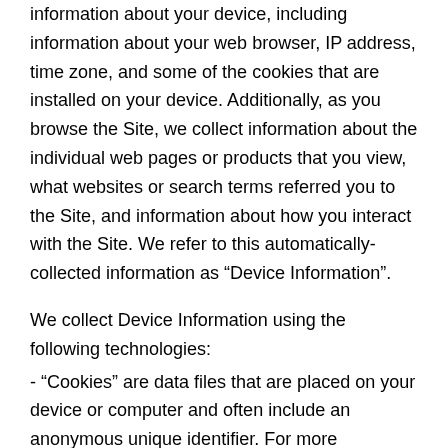information about your device, including information about your web browser, IP address, time zone, and some of the cookies that are installed on your device. Additionally, as you browse the Site, we collect information about the individual web pages or products that you view, what websites or search terms referred you to the Site, and information about how you interact with the Site. We refer to this automatically-collected information as “Device Information”.
We collect Device Information using the following technologies:
- “Cookies” are data files that are placed on your device or computer and often include an anonymous unique identifier. For more information about cookies, and how to disable cookies, visit http://www.allaboutcookies.org.
- “Log files” track actions occurring on the Site, and collect